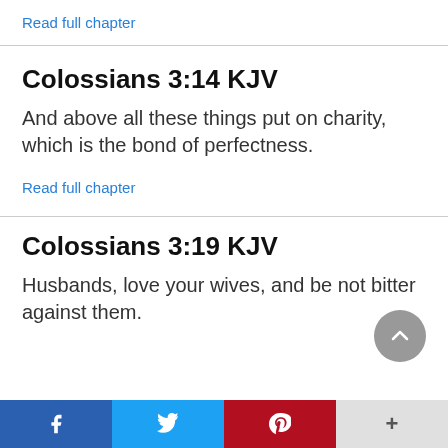Read full chapter
Colossians 3:14 KJV
And above all these things put on charity, which is the bond of perfectness.
Read full chapter
Colossians 3:19 KJV
Husbands, love your wives, and be not bitter against them.
Facebook  Twitter  Pinterest  +